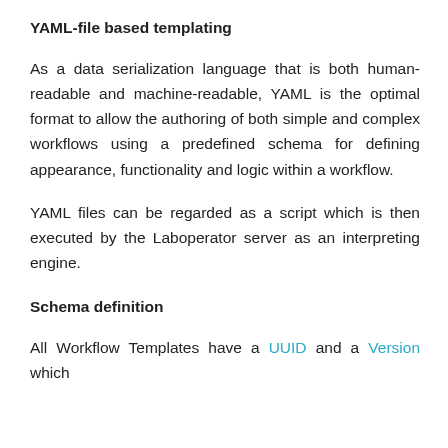YAML-file based templating
As a data serialization language that is both human-readable and machine-readable, YAML is the optimal format to allow the authoring of both simple and complex workflows using a predefined schema for defining appearance, functionality and logic within a workflow.
YAML files can be regarded as a script which is then executed by the Laboperator server as an interpreting engine.
Schema definition
All Workflow Templates have a UUID and a Version which